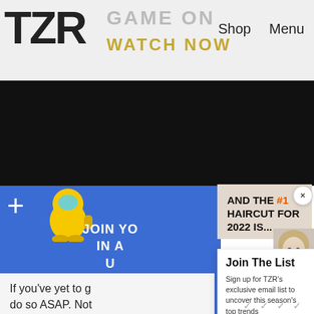TZR | GAME ON | WATCH NOW | Shop | Menu
[Figure (screenshot): Dark band area with video/ad content]
[Figure (screenshot): Among Us game advertisement with blue background, yellow crewmate character, plus sign, JOIN YO IN A U text, POWERED BY CONCERT]
AND THE #1 HAIRCUT FOR 2022 IS...
[Figure (photo): Blonde woman portrait photo on beige background]
Join The List
Sign up for TZR's exclusive email list to uncover this season's top trends
Email address
Subscribe
If you've yet to g do so ASAP. Not